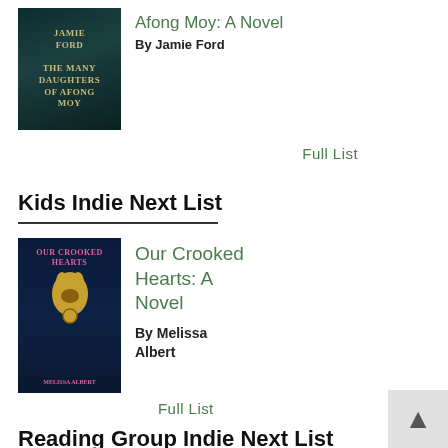[Figure (photo): Book cover of The Many Daughters of Afong Moy by Jamie Ford — dark teal background with gold decorative text]
Afong Moy: A Novel
By Jamie Ford
Full List
Kids Indie Next List
[Figure (photo): Book cover of Our Crooked Hearts: A Novel by Melissa Albert — dark blue background with gold rabbit mask graphic and pink title text]
Our Crooked Hearts: A Novel
By Melissa Albert
Full List
Reading Group Indie Next List